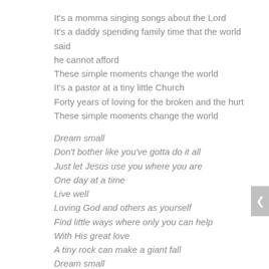It's a momma singing songs about the Lord
It's a daddy spending family time that the world said he cannot afford
These simple moments change the world
It's a pastor at a tiny little Church
Forty years of loving for the broken and the hurt
These simple moments change the world
Dream small
Don't bother like you've gotta do it all
Just let Jesus use you where you are
One day at a time
Live well
Loving God and others as yourself
Find little ways where only you can help
With His great love
A tiny rock can make a giant fall
Dream small